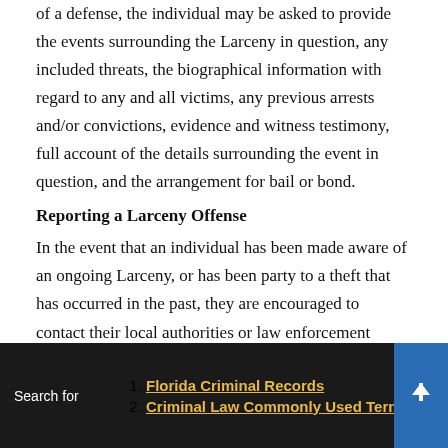of a defense, the individual may be asked to provide the events surrounding the Larceny in question, any included threats, the biographical information with regard to any and all victims, any previous arrests and/or convictions, evidence and witness testimony, full account of the details surrounding the event in question, and the arrangement for bail or bond.
Reporting a Larceny Offense
In the event that an individual has been made aware of an ongoing Larceny, or has been party to a theft that has occurred in the past, they are encouraged to contact their local authorities or law enforcement department in order to report the details of the offense. In the event that an individual wishes to do so in an anonymous fashion, they have to opportunity to contact the appropriate Government department, such as the National Crime Prevention Council through their telephone
Search for
1. Florida Criminal Records
2. Criminal Law Commonly Used Terms